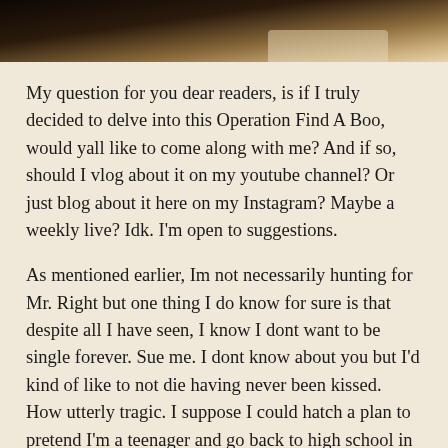[Figure (photo): Partial photo strip at the top of the page showing dark hair or textile with light area, cropped close]
My question for you dear readers, is if I truly decided to delve into this Operation Find A Boo, would yall like to come along with me? And if so, should I vlog about it on my youtube channel? Or just blog about it here on my Instagram? Maybe a weekly live? Idk. I'm open to suggestions.
As mentioned earlier, Im not necessarily hunting for Mr. Right but one thing I do know for sure is that despite all I have seen, I know I dont want to be single forever. Sue me. I dont know about you but I'd kind of like to not die having never been kissed. How utterly tragic. I suppose I could hatch a plan to pretend I'm a teenager and go back to high school in the hopes of finding someone inappropriately younger than me only to fall madly in love with me teacher. After all,